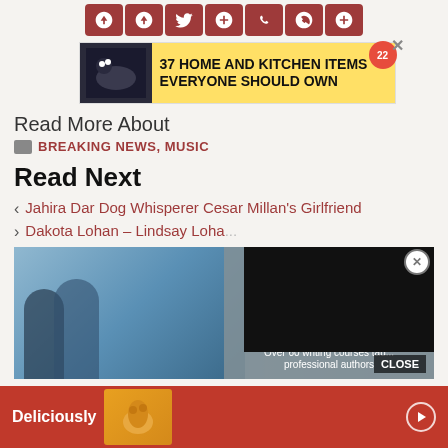[Figure (other): Social media sharing icon buttons row (Pinterest, Facebook, Twitter, Messenger, WhatsApp, Reddit, another)]
[Figure (other): Advertisement banner: '37 HOME AND KITCHEN ITEMS EVERYONE SHOULD OWN' with food image on left and yellow background, badge showing 22]
Read More About
BREAKING NEWS, MUSIC
Read Next
Jahira Dar Dog Whisperer Cesar Millan's Girlfriend
Dakota Lohan – Lindsay Loha...
[Figure (photo): Two young girls in a classroom or indoor setting, with a writing course advertisement overlay reading 'Where Best-selling Authors Teach Writing' and 'Over 60 writing courses tau... professional authors']
[Figure (other): Black video overlay panel in top right corner with X close button]
[Figure (other): Bottom advertisement banner in red with 'Deliciously' text and cat image]
CLOSE